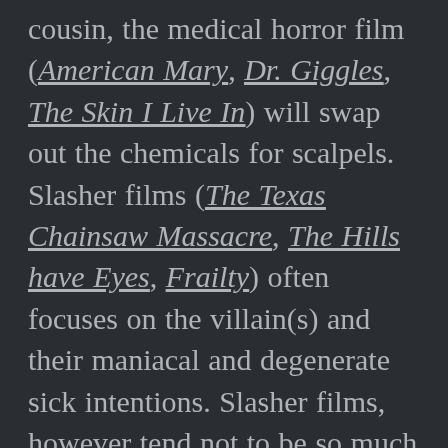cousin, the medical horror film (American Mary, Dr. Giggles, The Skin I Live In) will swap out the chemicals for scalpels. Slasher films (The Texas Chainsaw Massacre, The Hills have Eyes, Frailty) often focuses on the villain(s) and their maniacal and degenerate sick intentions. Slasher films, however tend not to be so much of a user of the abduction, as the maniacs tend to be rovers and don't let their prey live long enough for an abduction. Even horror Westerns benefit hugely from abductions with